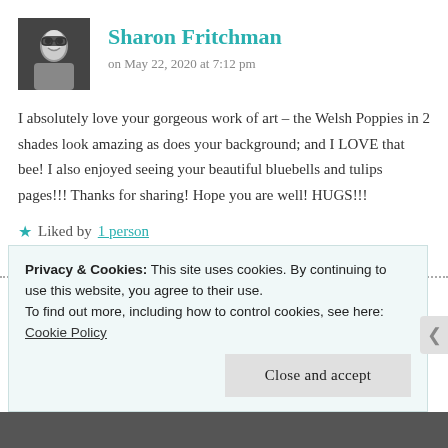[Figure (photo): Black and white profile photo of Sharon Fritchman, a person with glasses smiling]
Sharon Fritchman
on May 22, 2020 at 7:12 pm
I absolutely love your gorgeous work of art – the Welsh Poppies in 2 shades look amazing as does your background; and I LOVE that bee! I also enjoyed seeing your beautiful bluebells and tulips pages!!! Thanks for sharing! Hope you are well! HUGS!!!
★ Liked by 1 person
Reply
Privacy & Cookies: This site uses cookies. By continuing to use this website, you agree to their use.
To find out more, including how to control cookies, see here: Cookie Policy
Close and accept